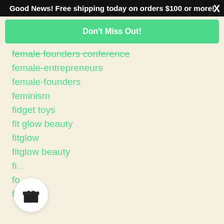Good News! Free shipping today on orders $100 or more! X
Don't Miss Out!
female founders conference
female-entrepreneurs
female-founders
feminism
fidget toys
fit glow beauty
fitglow
fitglow beauty
fi...
fo...
foodie
[Figure (illustration): Gift box icon in a white circle]